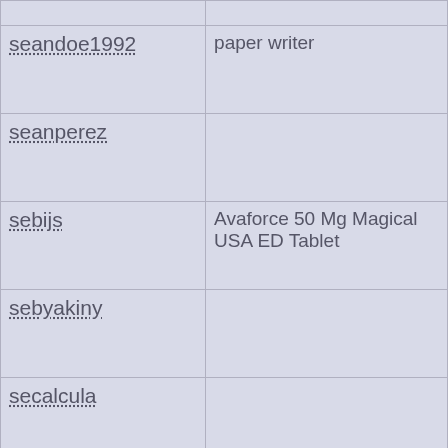| username | content |
| --- | --- |
| seandoe1992 | paper writer |
| seanperez |  |
| sebijs | Avaforce 50 Mg Magical USA ED Tablet |
| sebyakiny |  |
| secalcula |  |